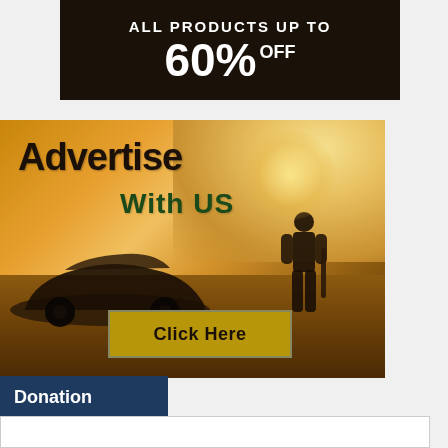[Figure (infographic): Dark brown promotional banner: 'ALL PRODUCTS UP TO 60% OFF' in white bold text on near-black background]
[Figure (illustration): Post-apocalyptic advertisement banner with desert landscape, muscle car silhouette, armed figure, text 'Advertise With US' and 'Click Here' button]
Donation